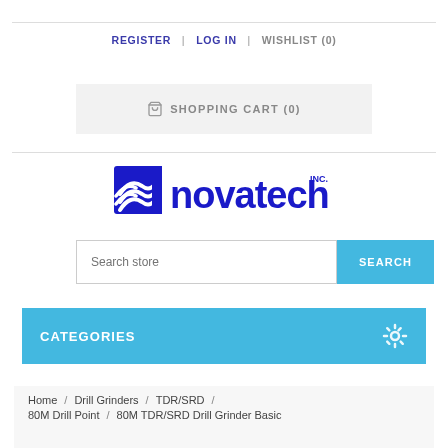REGISTER   LOG IN   WISHLIST (0)
🛍 SHOPPING CART (0)
[Figure (logo): Novatech Inc. logo — blue stylized wave icon to the left of the word 'novatech' in blue lowercase letters with 'INC.' superscript]
Search store  SEARCH
CATEGORIES
Home  /  Drill Grinders  /  TDR/SRD  /  80M Drill Point  /  80M TDR/SRD Drill Grinder Basic